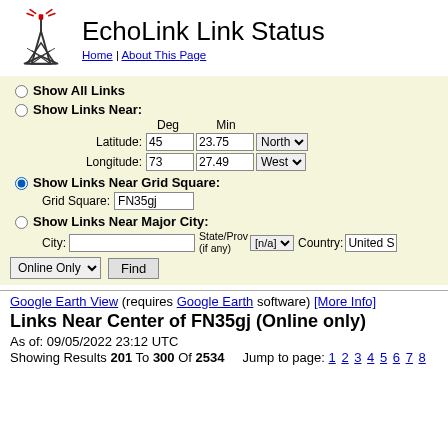EchoLink Link Status
Home | About This Page
Show All Links
Show Links Near:
Latitude: 45 Deg 23.75 Min North
Longitude: 73 Deg 27.49 Min West
Show Links Near Grid Square:
Grid Square: FN35gj
Show Links Near Major City:
City: State/Prov (if any) [n/a] Country: United S
Online Only Find
Google Earth View (requires Google Earth software) [More Info]
Links Near Center of FN35gj (Online only)
As of: 09/05/2022 23:12 UTC
Showing Results 201 To 300 Of 2534    Jump to page: 1 2 3 4 5 6 7 8